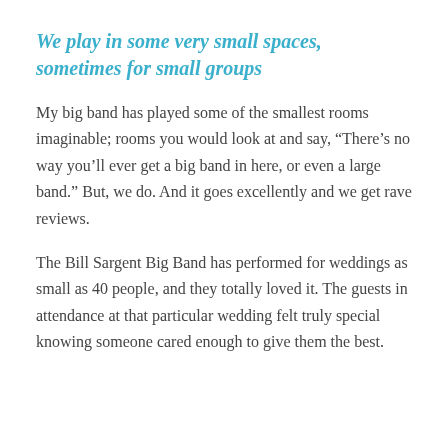We play in some very small spaces, sometimes for small groups
My big band has played some of the smallest rooms imaginable; rooms you would look at and say, “There’s no way you’ll ever get a big band in here, or even a large band.” But, we do. And it goes excellently and we get rave reviews.
The Bill Sargent Big Band has performed for weddings as small as 40 people, and they totally loved it. The guests in attendance at that particular wedding felt truly special knowing someone cared enough to give them the best.